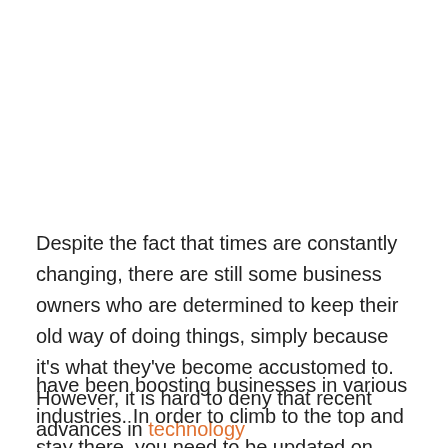Despite the fact that times are constantly changing, there are still some business owners who are determined to keep their old way of doing things, simply because it's what they've become accustomed to. However, it is hard to deny that recent advances in technology
have been boosting businesses in various industries. In order to climb to the top and stay there, you need to be updated on current trends and make sure your company